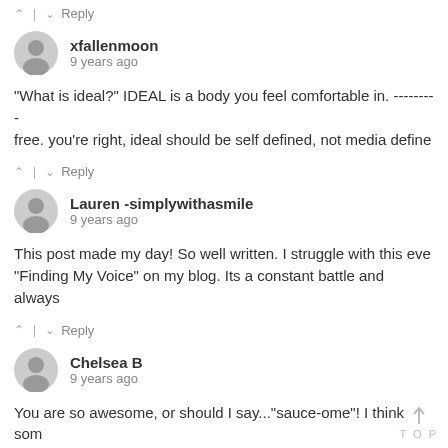^ | v Reply
xfallenmoon
9 years ago
"What is ideal?" IDEAL is a body you feel comfortable in. ---------free. you're right, ideal should be self defined, not media define
^ | v Reply
Lauren -simplywithasmile
9 years ago
This post made my day! So well written. I struggle with this eve "Finding My Voice" on my blog. Its a constant battle and always
^ | v Reply
Chelsea B
9 years ago
You are so awesome, or should I say..."sauce-ome"! I think som that" that they can't even take the initial steps to get healthy. Be soul), and you just gave us all a great reminder!
^ | v Reply
Martha